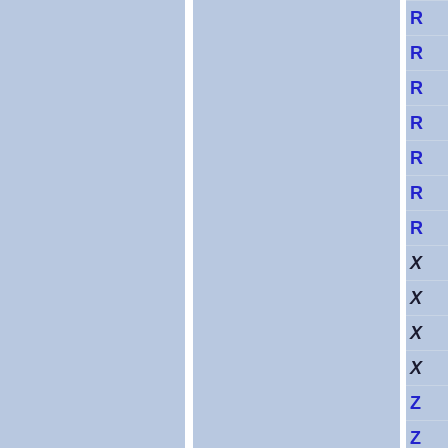[Figure (other): Page showing a table/index panel on the right side with blue column letters R (×7), X (×4), Z (×4) visible, partially cropped. Two blue-gray vertical panels on the left separated by a white divider.]
| R |
| R |
| R |
| R |
| R |
| R |
| R |
| X |
| X |
| X |
| X |
| Z |
| Z |
| Z |
| Z |